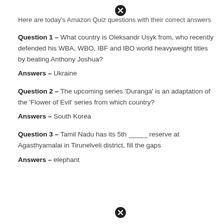Here are today's Amazon Quiz questions with their correct answers
Question 1 – What country is Oleksandr Usyk from, who recently defended his WBA, WBO, IBF and IBO world heavyweight titles by beating Anthony Joshua?
Answers – Ukraine
Question 2 – The upcoming series 'Duranga' is an adaptation of the 'Flower of Evil' series from which country?
Answers – South Korea
Question 3 – Tamil Nadu has its 5th _____ reserve at Agasthyamalai in Tirunelveli district, fill the gaps
Answers – elephant